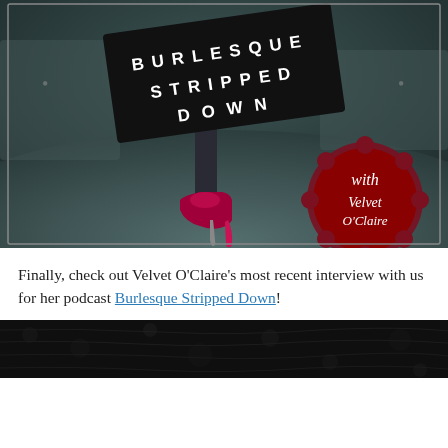[Figure (illustration): Podcast cover art for 'Burlesque Stripped Down with Velvet O'Claire'. Dark moody photo of a red high heel shoe on a wooden floor, with a tilted black banner reading 'BURLESQUE STRIPPED DOWN' in white letters, and a dark red scalloped badge reading 'with Velvet O'Claire' in cursive white text.]
Finally, check out Velvet O'Claire's most recent interview with us for her podcast Burlesque Stripped Down!
[Figure (photo): Dark black leather texture close-up photo.]